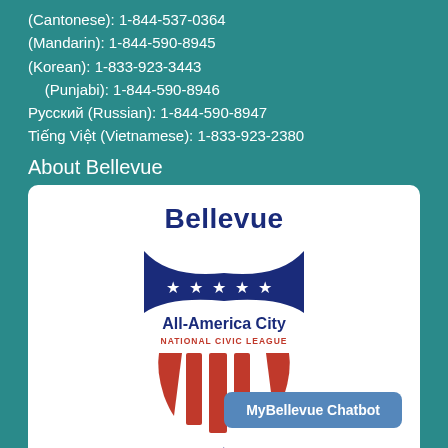(Cantonese): 1-844-537-0364
(Mandarin): 1-844-590-8945
(Korean): 1-833-923-3443
(Punjabi): 1-844-590-8946
Русский (Russian): 1-844-590-8947
Tiếng Việt (Vietnamese): 1-833-923-2380
About Bellevue
[Figure (logo): Bellevue All-America City National Civic League logo with shield, stars, and stripes. Years 1955 ★ 2021. MyBellevue Chatbot button overlay.]